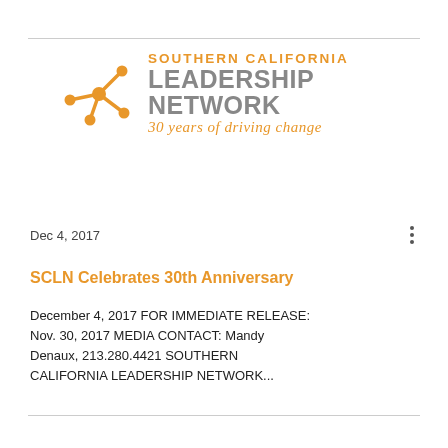[Figure (logo): Southern California Leadership Network logo with orange network icon, grey text SOUTHERN CALIFORNIA LEADERSHIP NETWORK, and orange italic tagline '30 years of driving change']
Dec 4, 2017
SCLN Celebrates 30th Anniversary
December 4, 2017 FOR IMMEDIATE RELEASE: Nov. 30, 2017 MEDIA CONTACT: Mandy Denaux, 213.280.4421 SOUTHERN CALIFORNIA LEADERSHIP NETWORK...